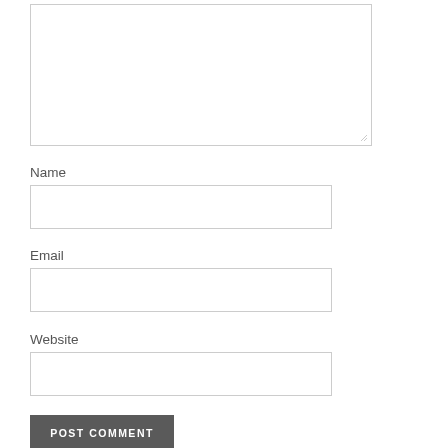[Figure (screenshot): Comment textarea input box with resize handle in bottom-right corner]
Name
[Figure (screenshot): Name text input field]
Email
[Figure (screenshot): Email text input field]
Website
[Figure (screenshot): Website text input field]
POST COMMENT